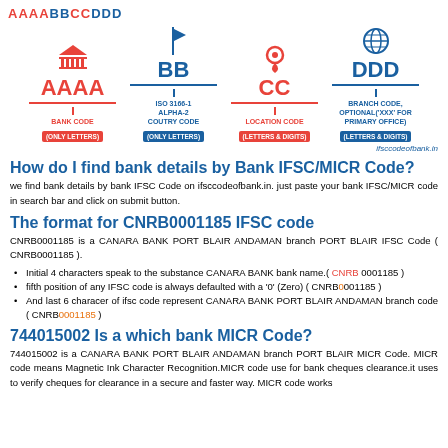[Figure (infographic): IFSC code structure diagram showing AAAABBCCDDD format split into 4 parts: AAAA (Bank Code, only letters, red), BB (ISO 3166-1 Alpha-2 Country Code, only letters, blue), CC (Location Code, letters & digits, red), DDD (Branch Code optional XXX for primary office, letters & digits, blue). Each part has an icon above it (bank building, flag, location pin, globe).]
ifsccodeofbank.in
How do I find bank details by Bank IFSC/MICR Code?
we find bank details by bank IFSC Code on ifsccodeofbank.in. just paste your bank IFSC/MICR code in search bar and click on submit button.
The format for CNRB0001185 IFSC code
CNRB0001185 is a CANARA BANK PORT BLAIR ANDAMAN branch PORT BLAIR IFSC Code ( CNRB0001185 ).
Initial 4 characters speak to the substance CANARA BANK bank name.( CNRB 0001185 )
fifth position of any IFSC code is always defaulted with a '0' (Zero) ( CNRB0001185 )
And last 6 characer of ifsc code represent CANARA BANK PORT BLAIR ANDAMAN branch code ( CNRB0001185 )
744015002 Is a which bank MICR Code?
744015002 is a CANARA BANK PORT BLAIR ANDAMAN branch PORT BLAIR MICR Code. MICR code means Magnetic Ink Character Recognition.MICR code use for bank cheques clearance.it uses to verify cheques for clearance in a secure and faster way. MICR code works